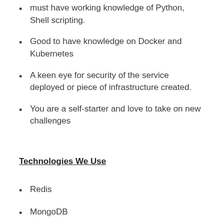must have working knowledge of Python, Shell scripting.
Good to have knowledge on Docker and Kubernetes
A keen eye for security of the service deployed or piece of infrastructure created.
You are a self-starter and love to take on new challenges
Technologies We Use
Redis
MongoDB
Kubernetes
Docker